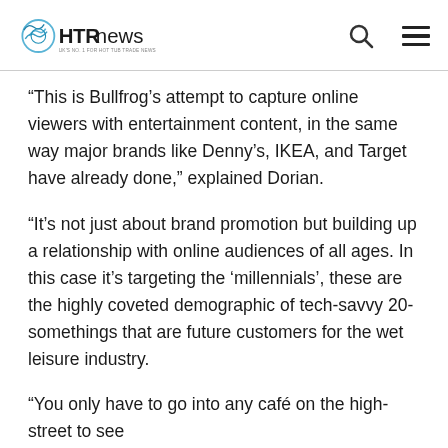HTRnews — UK'S NO. 1 FOR HOT TUB TRADE NEWS
“This is Bullfrog’s attempt to capture online viewers with entertainment content, in the same way major brands like Denny’s, IKEA, and Target have already done,” explained Dorian.
“It’s not just about brand promotion but building up a relationship with online audiences of all ages. In this case it’s targeting the ‘millennials’, these are the highly coveted demographic of tech-savvy 20-somethings that are future customers for the wet leisure industry.
“You only have to go into any café on the high-street to see